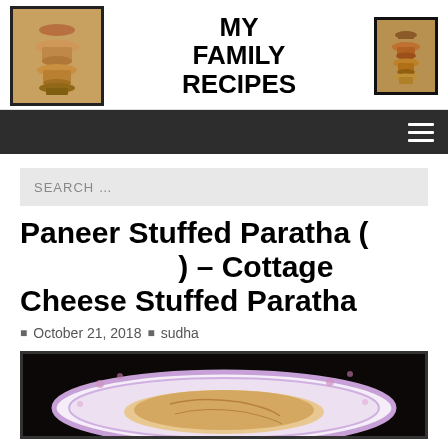MY FAMILY RECIPES
Paneer Stuffed Paratha ( ) – Cottage Cheese Stuffed Paratha
October 21, 2018  sudha
[Figure (photo): Photo of paneer stuffed paratha on a decorative plate with floral border]